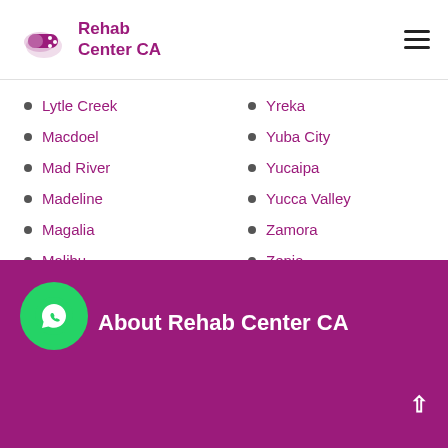[Figure (logo): Rehab Center CA logo with pill icon]
Lytle Creek
Macdoel
Mad River
Madeline
Magalia
Malibu
Mammoth Lakes
Yreka
Yuba City
Yucaipa
Yucca Valley
Zamora
Zenia
About Rehab Center CA